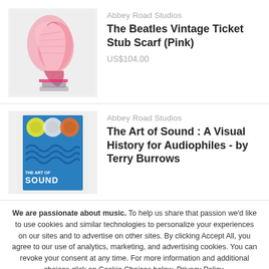[Figure (photo): Pink Beatles vintage ticket stub scarf displayed on white/light grey background]
Abbey Road Studios
The Beatles Vintage Ticket Stub Scarf (Pink)
US$104.00
[Figure (photo): The Art of Sound book cover - blue cover with circular music-related images at top and wavy lines in middle]
Abbey Road Studios
The Art of Sound : A Visual History for Audiophiles - by Terry Burrows
We are passionate about music. To help us share that passion we'd like to use cookies and similar technologies to personalize your experiences on our sites and to advertise on other sites. By clicking Accept All, you agree to our use of analytics, marketing, and advertising cookies. You can revoke your consent at any time. For more information and additional choices click on Cookie Choices below. Privacy Policy.
Accept All
Cookie Choices
Decline All